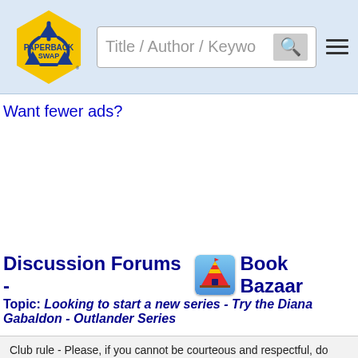PaperBack Swap — Title / Author / Keyword search bar with hamburger menu
Want fewer ads?
Discussion Forums - Book Bazaar
Topic: Looking to start a new series - Try the Diana Gabaldon - Outlander Series
Club rule - Please, if you cannot be courteous and respectful, do